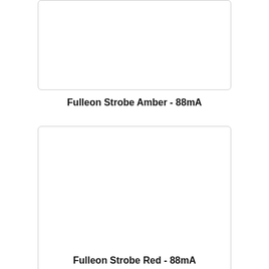[Figure (photo): Empty white rounded-rectangle box representing Fulleon Strobe Amber product image placeholder]
Fulleon Strobe Amber - 88mA
[Figure (photo): Empty white rounded-rectangle box representing Fulleon Strobe Red product image placeholder]
Fulleon Strobe Red - 88mA